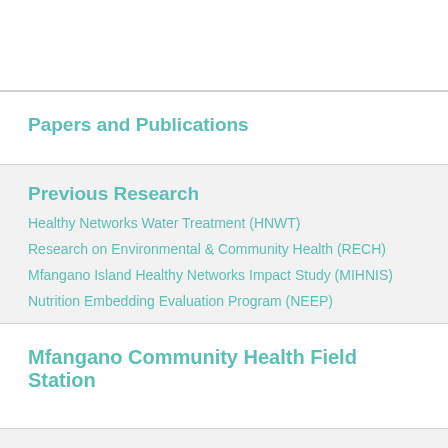Papers and Publications
Previous Research
Healthy Networks Water Treatment (HNWT)
Research on Environmental & Community Health (RECH)
Mfangano Island Healthy Networks Impact Study (MIHNIS)
Nutrition Embedding Evaluation Program (NEEP)
Mfangano Community Health Field Station